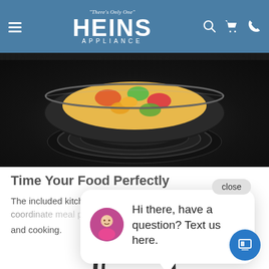There's Only One HEINS APPLIANCE
[Figure (photo): Close-up of a black induction or gas cooktop with a pan containing colorful food (vegetables/stir fry) cooking on it. Dark cooktop surface visible with burner rings.]
Time Your Food Perfectly
The included kitchen timer helps coordinate meal preparation and cooking.
[Figure (screenshot): Chat popup widget showing a man's avatar photo with message 'Hi there, have a question? Text us here.' and a close button. A blue circular chat icon button is also visible.]
[Figure (illustration): Line drawing / outline illustration of a kitchen timer at the bottom of the page.]